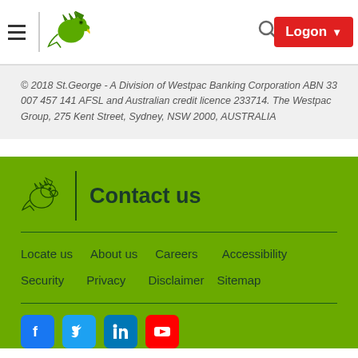St.George bank navigation header with hamburger menu, logo, search, and Logon button
© 2018 St.George - A Division of Westpac Banking Corporation ABN 33 007 457 141 AFSL and Australian credit licence 233714. The Westpac Group, 275 Kent Street, Sydney, NSW 2000, AUSTRALIA
Contact us
Locate us
About us
Careers
Accessibility
Security
Privacy
Disclaimer
Sitemap